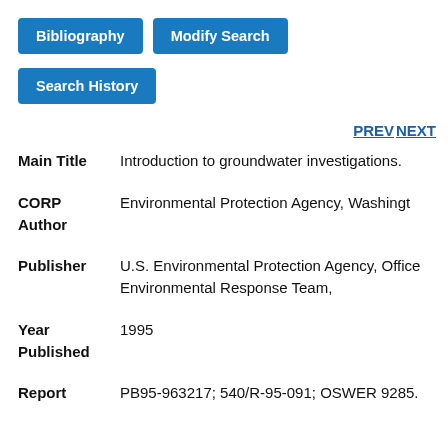[Figure (other): Blue button labeled 'Bibliography']
[Figure (other): Blue button labeled 'Modify Search']
[Figure (other): Blue button labeled 'Search History']
PREV NEXT
| Main Title | Introduction to groundwater investigations. |
| CORP Author | Environmental Protection Agency, Washington |
| Publisher | U.S. Environmental Protection Agency, Office Environmental Response Team, |
| Year Published | 1995 |
| Report | PB95-963217; 540/R-95-091; OSWER 9285. |